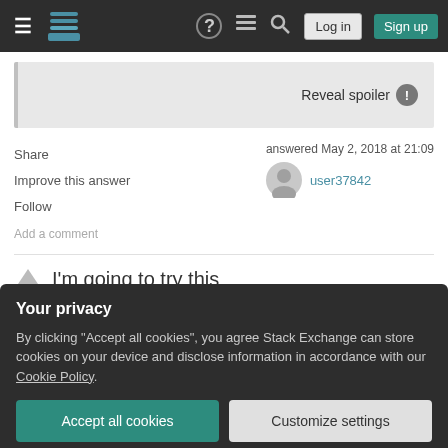Stack Exchange navigation bar with hamburger menu, logo, help, chat, search icons, Log in and Sign up buttons
[Figure (screenshot): Spoiler box with 'Reveal spoiler' button and warning icon]
Share
Improve this answer
Follow
Add a comment
answered May 2, 2018 at 21:09
user37842
I'm going to try this
Your privacy
By clicking "Accept all cookies", you agree Stack Exchange can store cookies on your device and disclose information in accordance with our Cookie Policy.
Accept all cookies
Customize settings